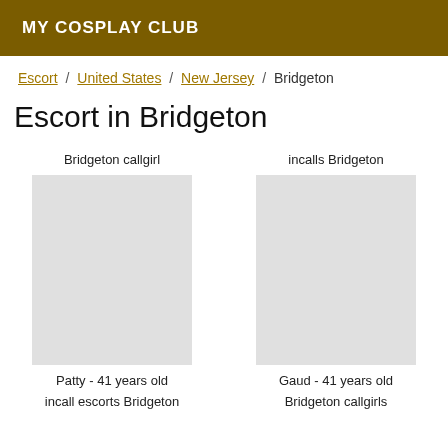MY COSPLAY CLUB
Escort / United States / New Jersey / Bridgeton
Escort in Bridgeton
Bridgeton callgirl
incalls Bridgeton
Patty - 41 years old
Gaud - 41 years old
incall escorts Bridgeton
Bridgeton callgirls